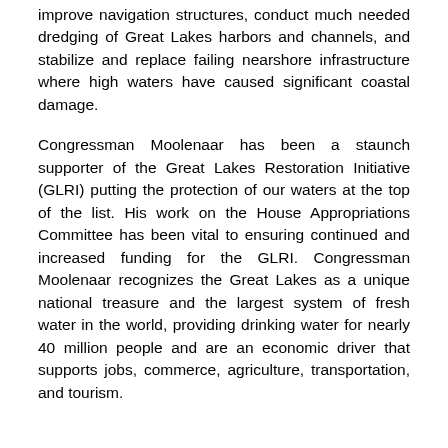improve navigation structures, conduct much needed dredging of Great Lakes harbors and channels, and stabilize and replace failing nearshore infrastructure where high waters have caused significant coastal damage.
Congressman Moolenaar has been a staunch supporter of the Great Lakes Restoration Initiative (GLRI) putting the protection of our waters at the top of the list. His work on the House Appropriations Committee has been vital to ensuring continued and increased funding for the GLRI. Congressman Moolenaar recognizes the Great Lakes as a unique national treasure and the largest system of fresh water in the world, providing drinking water for nearly 40 million people and are an economic driver that supports jobs, commerce, agriculture, transportation, and tourism.